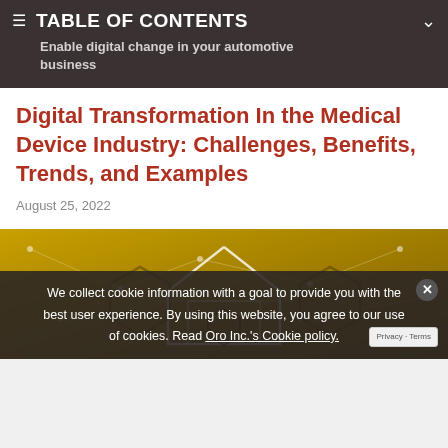TABLE OF CONTENTS
Enable digital change in your automotive business
Digital Transformation In the Medical Device Industry: Challenges, Benefits, Trends, and Examples
August 25, 2022
[Figure (illustration): Digital technology / connectivity concept illustration on golden/amber background with geometric shapes, hexagons, and circuit-like network patterns]
We collect cookie information with a goal to provide you with the best user experience. By using this website, you agree to our use of cookies. Read Oro Inc.'s Cookie policy.